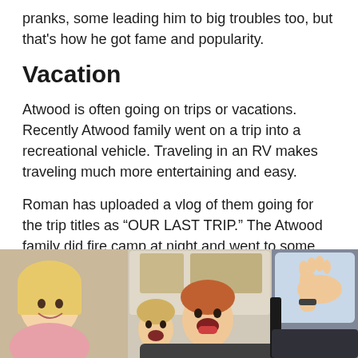pranks, some leading him to big troubles too, but that's how he got fame and popularity.
Vacation
Atwood is often going on trips or vacations. Recently Atwood family went on a trip into a recreational vehicle. Traveling in an RV makes traveling much more entertaining and easy.
Roman has uploaded a vlog of them going for the trip titles as “OUR LAST TRIP.” The Atwood family did fire camp at night and went to some park and Niagara falls.
[Figure (photo): Photo of children in an RV or vehicle, smiling and excited; a girl with blonde hair on the left, two boys in the center, and someone waving from the right side (driver area).]